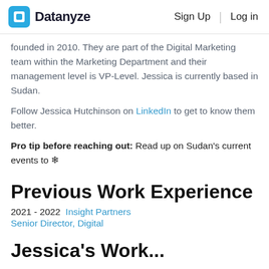Datanyze  Sign Up  Log in
founded in 2010. They are part of the Digital Marketing team within the Marketing Department and their management level is VP-Level. Jessica is currently based in Sudan.
Follow Jessica Hutchinson on LinkedIn to get to know them better.
Pro tip before reaching out: Read up on Sudan's current events to ❄
Previous Work Experience
2021 - 2022  Insight Partners
Senior Director, Digital
Jessica's Work...